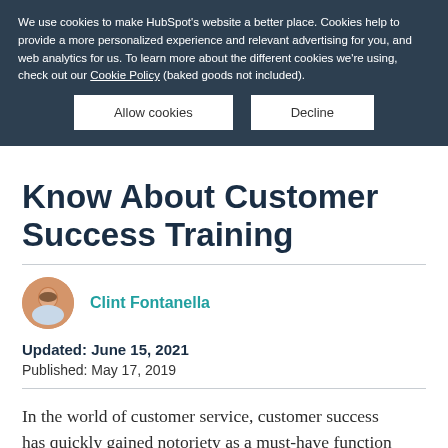We use cookies to make HubSpot's website a better place. Cookies help to provide a more personalized experience and relevant advertising for you, and web analytics for us. To learn more about the different cookies we're using, check out our Cookie Policy (baked goods not included).
Allow cookies | Decline
Know About Customer Success Training
Clint Fontanella
Updated: June 15, 2021
Published: May 17, 2019
In the world of customer service, customer success has quickly gained notoriety as a must-have function